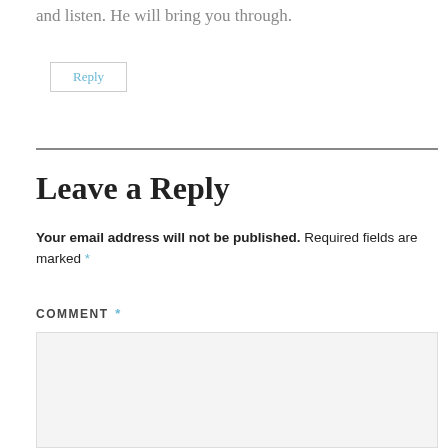and listen. He will bring you through.
Reply
Leave a Reply
Your email address will not be published. Required fields are marked *
COMMENT *
[Figure (other): Empty comment text area input box with light gray background]